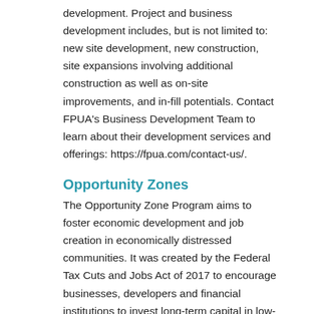development. Project and business development includes, but is not limited to: new site development, new construction, site expansions involving additional construction as well as on-site improvements, and in-fill potentials. Contact FPUA's Business Development Team to learn about their development services and offerings: https://fpua.com/contact-us/.
Opportunity Zones
The Opportunity Zone Program aims to foster economic development and job creation in economically distressed communities. It was created by the Federal Tax Cuts and Jobs Act of 2017 to encourage businesses, developers and financial institutions to invest long-term capital in low-income census tract areas. These areas were designated as Qualified Opportunity Zones by the U.S. Department of Treasury in June 2018. Treasury has approved 8,760 Qualified Opportunity Zones, which are in all 50 states, five territories and the District of Columbia.